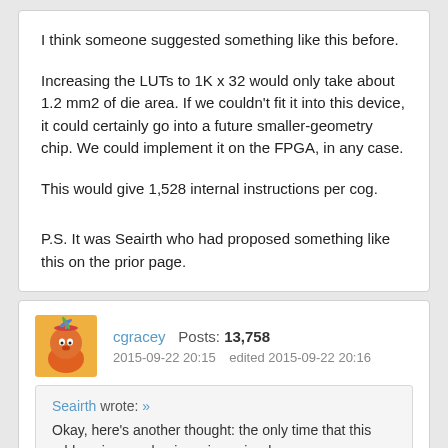I think someone suggested something like this before.
Increasing the LUTs to 1K x 32 would only take about 1.2 mm2 of die area. If we couldn't fit it into this device, it could certainly go into a future smaller-geometry chip. We could implement it on the FPGA, in any case.
This would give 1,528 internal instructions per cog.
P.S. It was Seairth who had proposed something like this on the prior page.
cgracey  Posts: 13,758  2015-09-22 20:15  edited 2015-09-22 20:16
Seairth wrote: » Okay, here's another thought: the only time that this addressing overlap is an issue is when you are